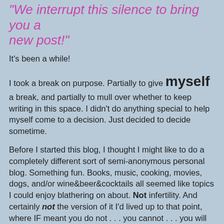"We interrupt this silence to bring you a new post!"
It's been a while!
I took a break on purpose. Partially to give myself a break, and partially to mull over whether to keep writing in this space. I didn't do anything special to help myself come to a decision. Just decided to decide sometime.
Before I started this blog, I thought I might like to do a completely different sort of semi-anonymous personal blog. Something fun. Books, music, cooking, movies, dogs, and/or wine&beer&cocktails all seemed like topics I could enjoy blathering on about. Not infertility. And certainly not the version of it I'd lived up to that point, where IF meant you do not . . . you cannot . . . you will not conceive a take-home baby. I had nothing to say about that except that it sucked and I hated it. I just didn't know where I could go with that theme. Plus, I felt then that DH and I were just about done with TTC and it didn't make sense to blog in retrospect.